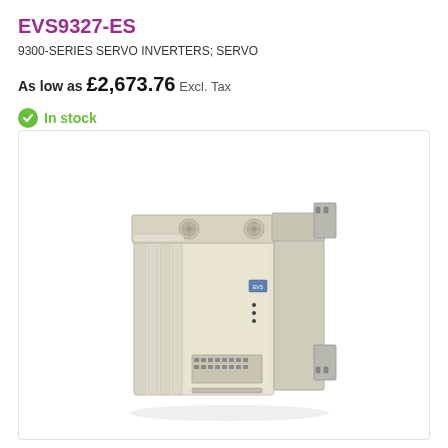EVS9327-ES
9300-SERIES SERVO INVERTERS; SERVO
As low as £2,673.76 Excl. Tax
In stock
[Figure (photo): Photo of EVS9327-ES servo inverter unit, a beige/cream colored industrial servo drive with ventilation grilles, mounting brackets, and connection terminals, shown in a 3D perspective view on white background.]